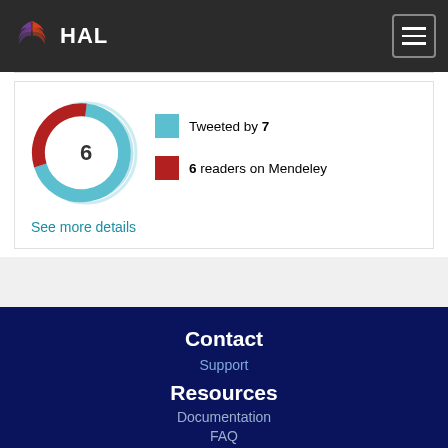HAL
[Figure (infographic): Altmetric donut badge showing score of 6, with blue segment for Twitter and red segment for Mendeley. Legend: blue square = Tweeted by 7, red square = 6 readers on Mendeley. Link: See more details.]
Tweeted by 7
6 readers on Mendeley
See more details
Contact
Support
Resources
Documentation
FAQ
API
OAI-PMH